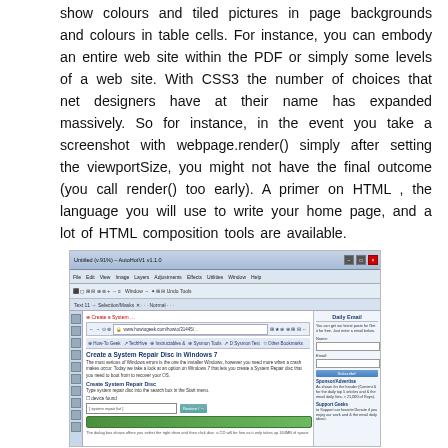show colours and tiled pictures in page backgrounds and colours in table cells. For instance, you can embody an entire web site within the PDF or simply some levels of a web site. With CSS3 the number of choices that net designers have at their name has expanded massively. So for instance, in the event you take a screenshot with webpage.render() simply after setting the viewportSize, you might not have the final outcome (you call render() too early). A primer on HTML , the language you will use to write your home page, and a lot of HTML composition tools are available.
[Figure (screenshot): Screenshot of a web browser showing a page titled 'Create a System Repair Disc in Windows 7' with browser toolbars, navigation bar, bookmarks bar, main content area with text and form fields, and a right sidebar with a 'Daily Email' subscription form.]